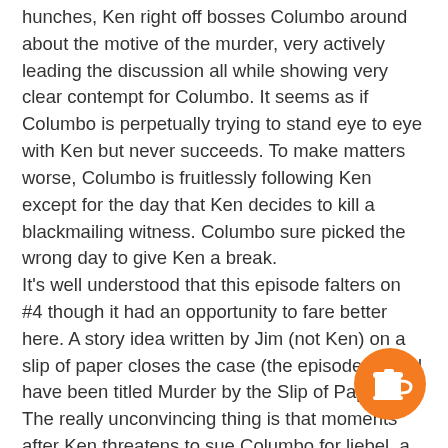hunches, Ken right off bosses Columbo around about the motive of the murder, very actively leading the discussion all while showing very clear contempt for Columbo. It seems as if Columbo is perpetually trying to stand eye to eye with Ken but never succeeds. To make matters worse, Columbo is fruitlessly following Ken except for the day that Ken decides to kill a blackmailing witness. Columbo sure picked the wrong day to give Ken a break.
It's well understood that this episode falters on #4 though it had an opportunity to fare better here. A story idea written by Jim (not Ken) on a slip of paper closes the case (the episode should have been titled Murder by the Slip of Paper). The really unconvincing thing is that moments after Ken threatens to sue Columbo for liebel, a story idea written by another man that vaguely resembles a plot that Columbo has yet to even prove causes him to buckle and confess. I think a better idea would have been for Columbo to have learned that Ken had been long working on a solo manuscript but was unable to complete it and Columbo finds the murder plot within. At least then the plot would be his own writing and the episode would live up to its title. The really odd thing is that physical
[Figure (illustration): Orange circular badge/button with a coffee cup icon in white, positioned at bottom right of the page.]